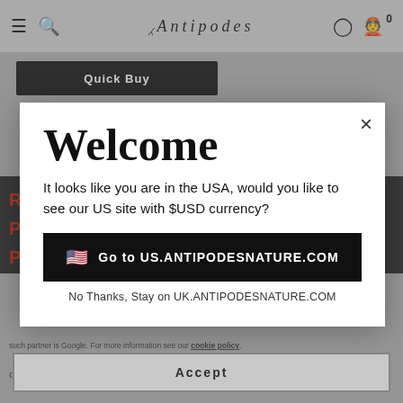Antipodes
[Figure (screenshot): Antipodes website navigation bar with hamburger menu, search icon, Antipodes logo, user icon, and cart with 0 items]
Quick Buy
Welcome
It looks like you are in the USA, would you like to see our US site with $USD currency?
Go to US.ANTIPODESNATURE.COM
No Thanks, Stay on UK.ANTIPODESNATURE.COM
such partner is Google. For more information see our cookie policy.
Accept